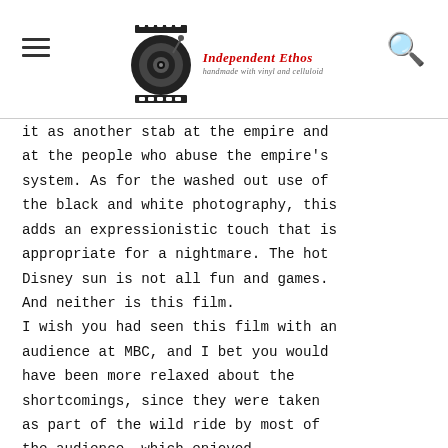Independent Ethos — handmade with vinyl and celluloid
it as another stab at the empire and at the people who abuse the empire's system. As for the washed out use of the black and white photography, this adds an expressionistic touch that is appropriate for a nightmare. The hot Disney sun is not all fun and games. And neither is this film.
I wish you had seen this film with an audience at MBC, and I bet you would have been more relaxed about the shortcomings, since they were taken as part of the wild ride by most of the audience, which enjoyed themselves as if on a field trip to